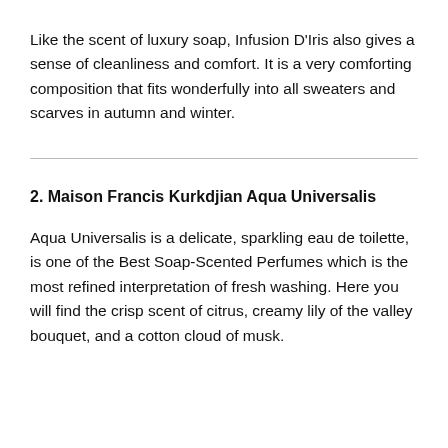Like the scent of luxury soap, Infusion D'Iris also gives a sense of cleanliness and comfort. It is a very comforting composition that fits wonderfully into all sweaters and scarves in autumn and winter.
2. Maison Francis Kurkdjian Aqua Universalis
Aqua Universalis is a delicate, sparkling eau de toilette, is one of the Best Soap-Scented Perfumes which is the most refined interpretation of fresh washing. Here you will find the crisp scent of citrus, creamy lily of the valley bouquet, and a cotton cloud of musk.